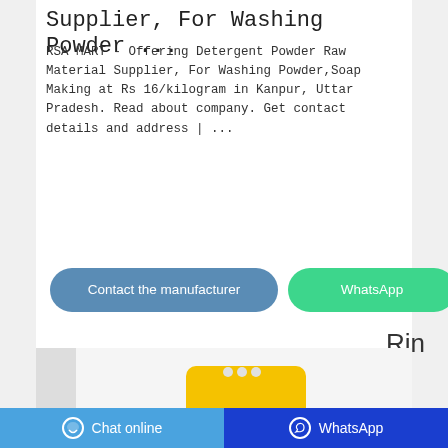Supplier, For Washing Powder ...
RSA MART - Offering Detergent Powder Raw Material Supplier, For Washing Powder,Soap Making at Rs 16/kilogram in Kanpur, Uttar Pradesh. Read about company. Get contact details and address | ...
[Figure (screenshot): Two buttons: 'Contact the manufacturer' (blue/grey) and 'WhatsApp' (green)]
Rin
[Figure (photo): Product image showing a yellow bag of RINSE/stain remover detergent powder on a white background with household items]
Chat online   WhatsApp